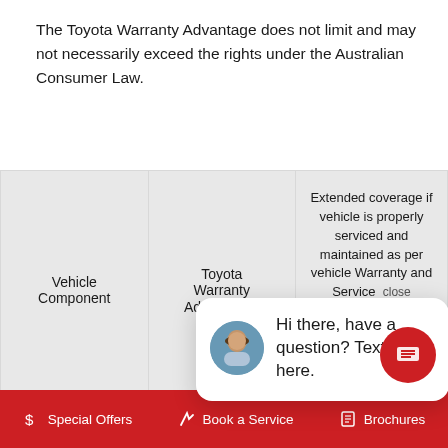The Toyota Warranty Advantage does not limit and may not necessarily exceed the rights under the Australian Consumer Law.
| Vehicle Component | Toyota Warranty Advantage*1 | Extended coverage if vehicle is properly serviced and maintained as per vehicle Warranty and Service ... close |
| --- | --- | --- |
| Vehicle (bumper to bumper) |  |  |
| Engine / hybrid system (excluding hybrid battery) | kilometres | kilometres |
[Figure (other): Chat widget overlay showing a woman avatar and text: Hi there, have a question? Text us here.]
$ Special Offers   Book a Service   Brochures